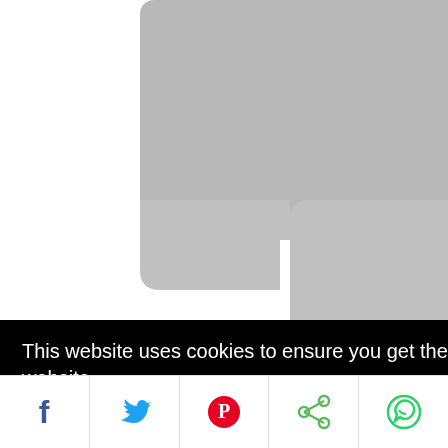[Figure (photo): Partial view of a product or device in gray/silver tones, cropped at top of page — appears to be a camera or electronic device.]
This website uses cookies to ensure you get the best experience on our website.
Learn more
Got it!
[Figure (line-chart): Partial line chart visible on right side — red and green lines trending.]
[Figure (infographic): Social sharing bar with Facebook, Twitter, Pinterest, Share, and WhatsApp icons.]